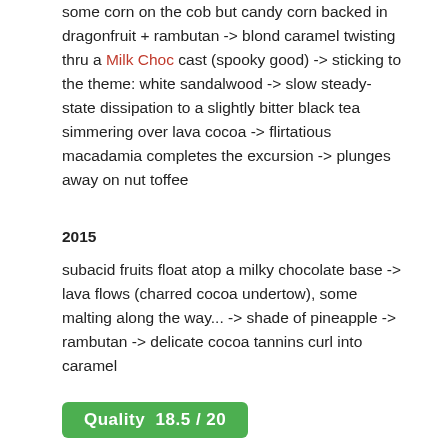some corn on the cob but candy corn backed in dragonfruit + rambutan -> blond caramel twisting thru a Milk Choc cast (spooky good) -> sticking to the theme: white sandalwood -> slow steady-state dissipation to a slightly bitter black tea simmering over lava cocoa -> flirtatious macadamia completes the excursion -> plunges away on nut toffee
2015
subacid fruits float atop a milky chocolate base -> lava flows (charred cocoa undertow), some malting along the way... -> shade of pineapple -> rambutan -> delicate cocoa tannins curl into caramel
Quality  18.5 / 20